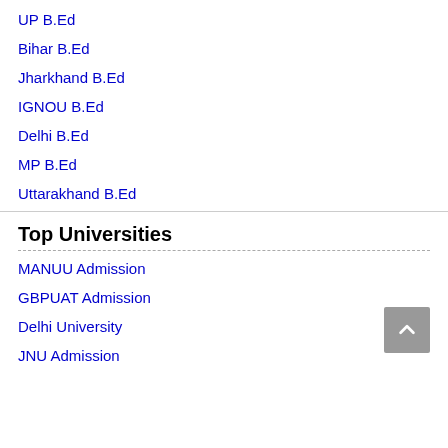UP B.Ed
Bihar B.Ed
Jharkhand B.Ed
IGNOU B.Ed
Delhi B.Ed
MP B.Ed
Uttarakhand B.Ed
Top Universities
MANUU Admission
GBPUAT Admission
Delhi University
JNU Admission